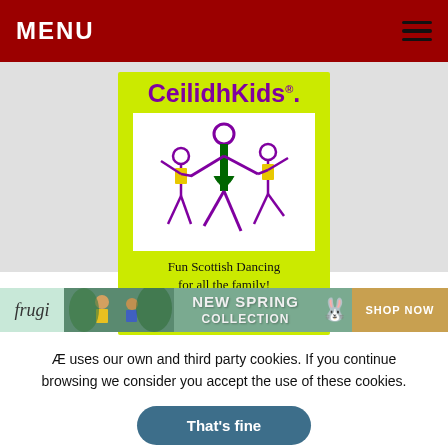MENU
[Figure (logo): CeilidhKids logo with yellow-green background, purple stick figures of adult and two children dancing, tagline 'Fun Scottish Dancing for all the family!' and URL www.ceilidhkids.com]
[Figure (illustration): Frugi brand banner ad for New Spring Collection with 'SHOP NOW' button]
Æ uses our own and third party cookies. If you continue browsing we consider you accept the use of these cookies.
That's fine